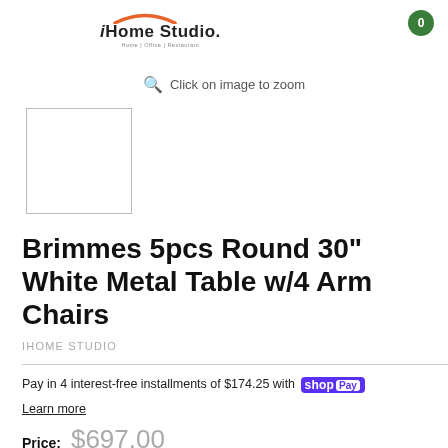[Figure (logo): iHome Studio logo with orange arc and tagline Home | Office | Restaurant]
[Figure (other): Green circle with number 0 (shopping cart badge)]
Click on image to zoom
[Figure (photo): Thumbnail image placeholder with border]
Brimmes 5pcs Round 30" White Metal Table w/4 Arm Chairs
IHOME STUDIO
Pay in 4 interest-free installments of $174.25 with shopPay
Learn more
Price: $697.00